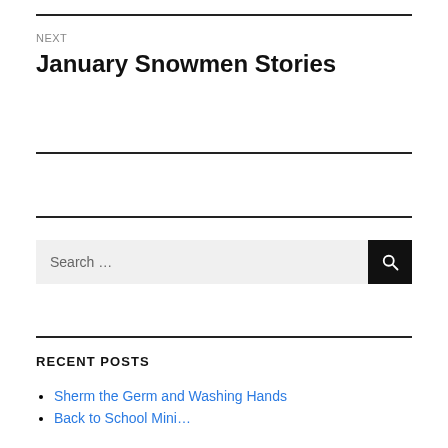NEXT
January Snowmen Stories
Search …
RECENT POSTS
Sherm the Germ and Washing Hands
Back to School Mini…